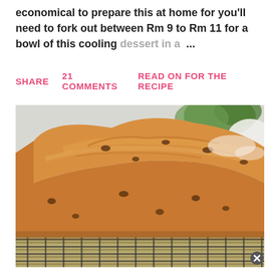economical to prepare this at home for you'll need to fork out between Rm 9 to Rm 11 for a bowl of this cooling dessert in a ...
SHARE   21 COMMENTS        READ ON FOR THE RECIPE
[Figure (photo): Close-up photo of a golden-brown loaf cake with raisins, cooling on a wire rack on a bamboo mat. Green plant visible in background.]